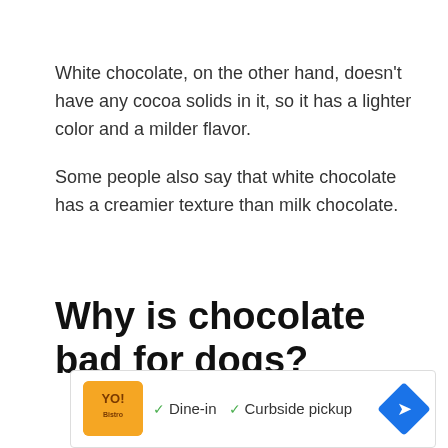White chocolate, on the other hand, doesn't have any cocoa solids in it, so it has a lighter color and a milder flavor.

Some people also say that white chocolate has a creamier texture than milk chocolate.
Why is chocolate bad for dogs?
[Figure (other): Advertisement banner showing a restaurant logo with orange background, checkmarks for Dine-in and Curbside pickup options, and a navigation arrow icon in blue diamond shape, with play and close buttons at the bottom.]